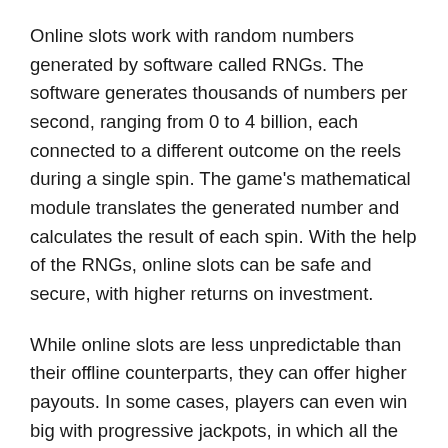Online slots work with random numbers generated by software called RNGs. The software generates thousands of numbers per second, ranging from 0 to 4 billion, each connected to a different outcome on the reels during a single spin. The game's mathematical module translates the generated number and calculates the result of each spin. With the help of the RNGs, online slots can be safe and secure, with higher returns on investment.
While online slots are less unpredictable than their offline counterparts, they can offer higher payouts. In some cases, players can even win big with progressive jackpots, in which all the winnings of a certain game are combined into one large pot. These are the most popular types of online slot games, and they have the potential to be more exciting than their offline counterparts. If you're new to the world of online slot games, you should choose wisely and